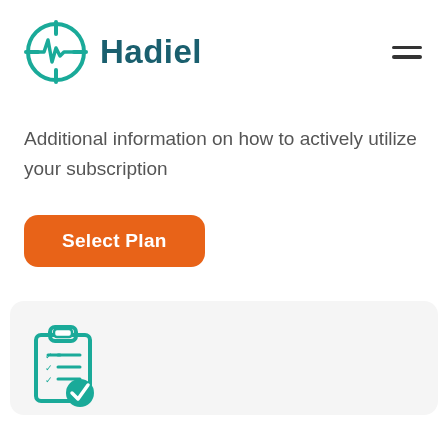[Figure (logo): Hadiel logo: teal circular target/crosshair icon with heartbeat/pulse line through center, next to bold dark teal text 'Hadiel']
Additional information on how to actively utilize your subscription
Select Plan
[Figure (illustration): Teal clipboard icon with checklist items and a teal checkmark badge at bottom right, partially visible at bottom of page]